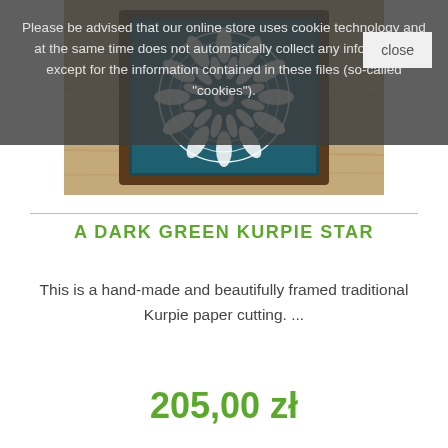Please be advised that our online store uses cookie technology and at the same time does not automatically collect any information, except for the information contained in these files (so-called "cookies").
[Figure (photo): A framed dark green Kurpie star paper cutting art piece displayed on a wooden surface, shown inside a dark brown wooden frame]
A DARK GREEN KURPIE STAR
This is a hand-made and beautifully framed traditional Kurpie paper cutting. ...
205,00 zł